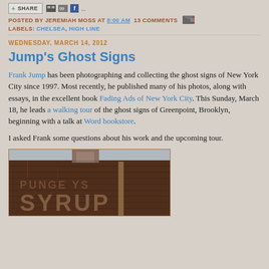SHARE [icons]
POSTED BY JEREMIAH MOSS AT 8:00 AM  13 COMMENTS [email icon]
LABELS: CHELSEA, HIGH LINE
WEDNESDAY, MARCH 14, 2012
Jump's Ghost Signs
Frank Jump has been photographing and collecting the ghost signs of New York City since 1997. Most recently, he published many of his photos, along with essays, in the excellent book Fading Ads of New York City. This Sunday, March 18, he leads a walking tour of the ghost signs of Greenpoint, Brooklyn, beginning with a talk at Word bookstore.
I asked Frank some questions about his work and the upcoming tour.
[Figure (photo): Photograph of a faded ghost sign on a brick building wall, showing text that reads 'SYRUP' and partial letters above, weathered and aged with rust and dirt.]